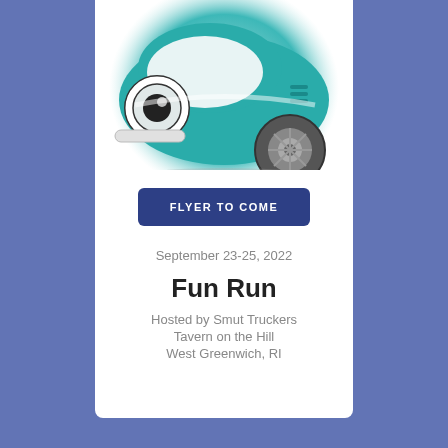[Figure (illustration): Illustration of a teal/turquoise VW Beetle car viewed from a 3/4 front angle, with a circular gradient background, cartoonish style with white and black accents on headlights and wheels]
FLYER TO COME
September 23-25, 2022
Fun Run
Hosted by Smut Truckers
Tavern on the Hill
West Greenwich, RI